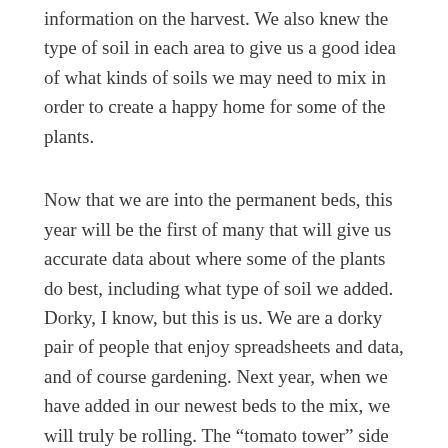information on the harvest. We also knew the type of soil in each area to give us a good idea of what kinds of soils we may need to mix in order to create a happy home for some of the plants.
Now that we are into the permanent beds, this year will be the first of many that will give us accurate data about where some of the plants do best, including what type of soil we added. Dorky, I know, but this is us. We are a dorky pair of people that enjoy spreadsheets and data, and of course gardening. Next year, when we have added in our newest beds to the mix, we will truly be rolling. The “tomato tower” side of the yard (as we dubbed it years ago), will be fully developed and ready for next spring. It offers shade a little earlier in the day, and